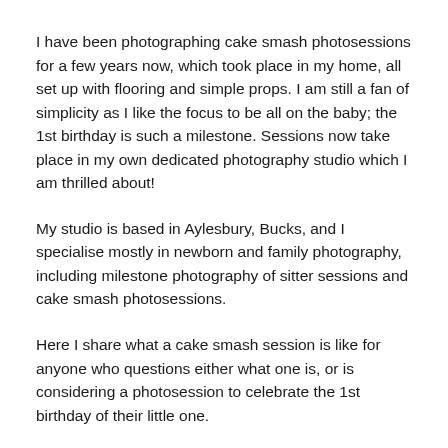I have been photographing cake smash photosessions for a few years now, which took place in my home, all set up with flooring and simple props. I am still a fan of simplicity as I like the focus to be all on the baby; the 1st birthday is such a milestone. Sessions now take place in my own dedicated photography studio which I am thrilled about!
My studio is based in Aylesbury, Bucks, and I specialise mostly in newborn and family photography, including milestone photography of sitter sessions and cake smash photosessions.
Here I share what a cake smash session is like for anyone who questions either what one is, or is considering a photosession to celebrate the 1st birthday of their little one.